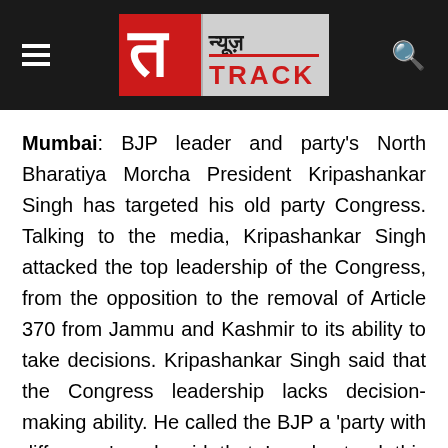News Track (न्यूज़ TRACK) logo header with hamburger menu and search icon
Mumbai: BJP leader and party's North Bharatiya Morcha President Kripashankar Singh has targeted his old party Congress. Talking to the media, Kripashankar Singh attacked the top leadership of the Congress, from the opposition to the removal of Article 370 from Jammu and Kashmir to its ability to take decisions. Kripashankar Singh said that the Congress leadership lacks decision-making ability. He called the BJP a 'party with difference' and said that I understood this after joining the party. Without naming the Congress, Kripashankar Singh said that the party in which it was earlier had not evaluated